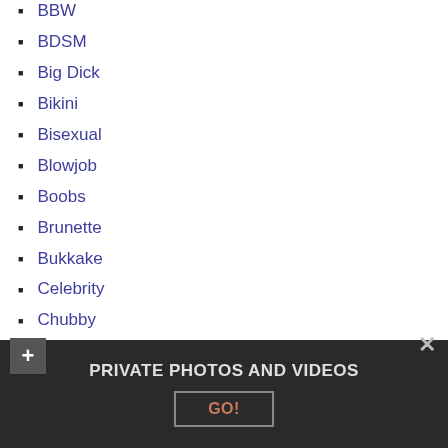BBW
BDSM
Big Dick
Bikini
Bisexual
Blowjob
Boobs
Brunette
Bukkake
Celebrity
Chubby
Clitoris
Cosplay
Cumshot
Deepthroat
Dildo
PRIVATE PHOTOS AND VIDEOS
GO!